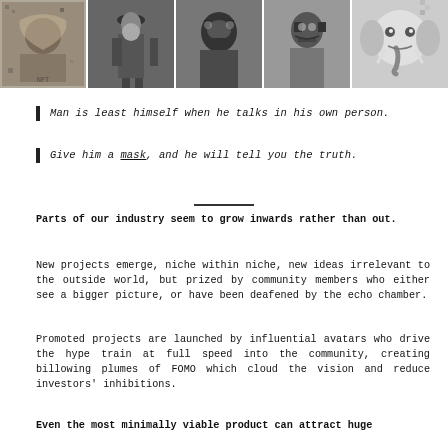[Figure (photo): A horizontal strip of five black-and-white and illustrated images showing figures wearing or depicted with masks, including tribal art, a man in a hat and coat, masked figures, and illustrated animal-faced characters.]
Man is least himself when he talks in his own person.
Give him a mask, and he will tell you the truth.
Parts of our industry seem to grow inwards rather than out.
New projects emerge, niche within niche, new ideas irrelevant to the outside world, but prized by community members who either see a bigger picture, or have been deafened by the echo chamber.
Promoted projects are launched by influential avatars who drive the hype train at full speed into the community, creating billowing plumes of FOMO which cloud the vision and reduce investors' inhibitions.
Even the most minimally viable product can attract huge